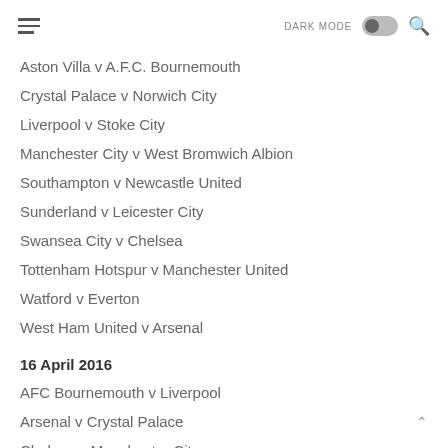DARK MODE [toggle] [search]
Aston Villa v A.F.C. Bournemouth
Crystal Palace v Norwich City
Liverpool v Stoke City
Manchester City v West Bromwich Albion
Southampton v Newcastle United
Sunderland v Leicester City
Swansea City v Chelsea
Tottenham Hotspur v Manchester United
Watford v Everton
West Ham United v Arsenal
16 April 2016
AFC Bournemouth v Liverpool
Arsenal v Crystal Palace
Chelsea v Manchester City
Everton v Southampton